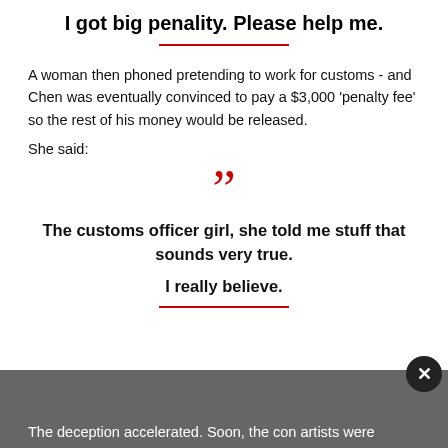I got big penality. Please help me.
A woman then phoned pretending to work for customs - and Chen was eventually convinced to pay a $3,000 'penalty fee' so the rest of his money would be released.
She said:
““
The customs officer girl, she told me stuff that sounds very true.

I really believe.
The deception accelerated. Soon, the con artists were